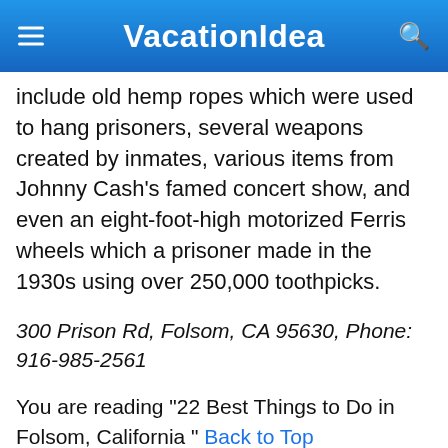VacationIdea
include old hemp ropes which were used to hang prisoners, several weapons created by inmates, various items from Johnny Cash's famed concert show, and even an eight-foot-high motorized Ferris wheels which a prisoner made in the 1930s using over 250,000 toothpicks.
300 Prison Rd, Folsom, CA 95630, Phone: 916-985-2561
You are reading "22 Best Things to Do in Folsom, California " Back to Top